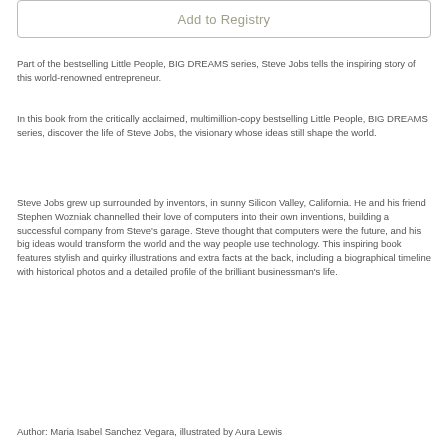[Figure (other): Add to Registry button — a rectangular bordered button with muted text]
Part of the bestselling Little People, BIG DREAMS series, Steve Jobs tells the inspiring story of this world-renowned entrepreneur.
In this book from the critically acclaimed, multimillion-copy bestselling Little People, BIG DREAMS series, discover the life of Steve Jobs, the visionary whose ideas still shape the world.
Steve Jobs grew up surrounded by inventors, in sunny Silicon Valley, California. He and his friend Stephen Wozniak channelled their love of computers into their own inventions, building a successful company from Steve's garage. Steve thought that computers were the future, and his big ideas would transform the world and the way people use technology. This inspiring book features stylish and quirky illustrations and extra facts at the back, including a biographical timeline with historical photos and a detailed profile of the brilliant businessman's life.
Author: Maria Isabel Sanchez Vegara, illustrated by Aura Lewis